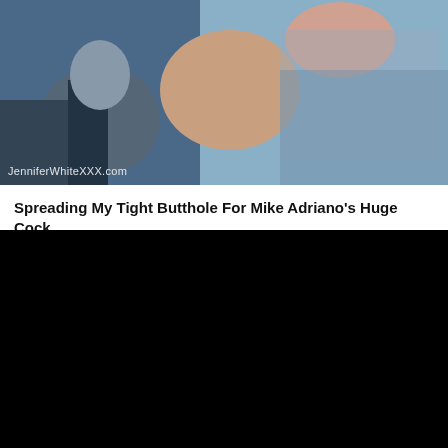[Figure (photo): Thumbnail image of two people in a bedroom setting with watermark text overlay]
Spreading My Tight Butthole For Mike Adriano's Huge Cock
2021-04-07
38:26
[Figure (screenshot): Black video player area]